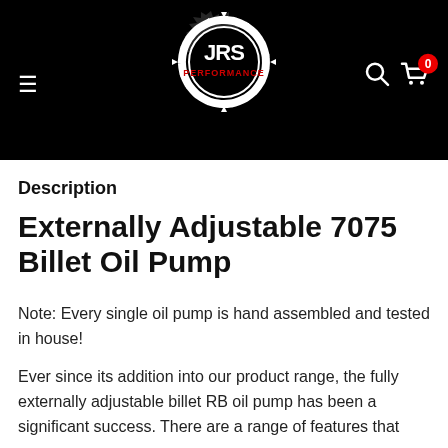[Figure (logo): JRS Performance logo — white gear outline with JRS text inside on black background, red PERFORMANCE text below]
Description
Externally Adjustable 7075 Billet Oil Pump
Note: Every single oil pump is hand assembled and tested in house!
Ever since its addition into our product range, the fully externally adjustable billet RB oil pump has been a significant success. There are a range of features that